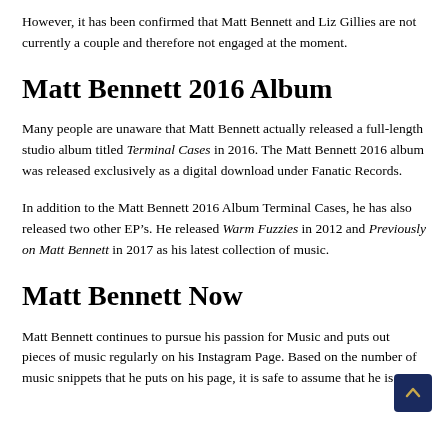However, it has been confirmed that Matt Bennett and Liz Gillies are not currently a couple and therefore not engaged at the moment.
Matt Bennett 2016 Album
Many people are unaware that Matt Bennett actually released a full-length studio album titled Terminal Cases in 2016. The Matt Bennett 2016 album was released exclusively as a digital download under Fanatic Records.
In addition to the Matt Bennett 2016 Album Terminal Cases, he has also released two other EP’s. He released Warm Fuzzies in 2012 and Previously on Matt Bennett in 2017 as his latest collection of music.
Matt Bennett Now
Matt Bennett continues to pursue his passion for Music and puts out pieces of music regularly on his Instagram Page. Based on the number of music snippets that he puts on his page, it is safe to assume that he is